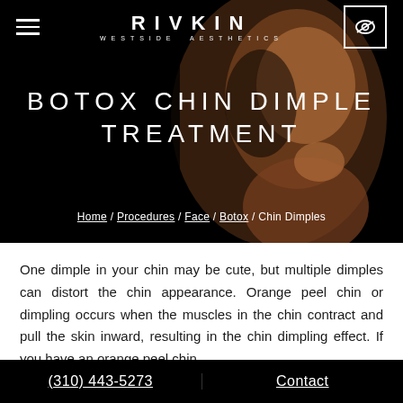[Figure (photo): Hero banner with dark background showing a smiling Black woman touching her chin, with navigation bar, site logo RIVKIN WESTSIDE AESTHETICS, hamburger menu, and eye icon button]
BOTOX CHIN DIMPLE TREATMENT
Home / Procedures / Face / Botox / Chin Dimples
One dimple in your chin may be cute, but multiple dimples can distort the chin appearance. Orange peel chin or dimpling occurs when the muscles in the chin contract and pull the skin inward, resulting in the chin dimpling effect. If you have an orange peel chin
(310) 443-5273   Contact